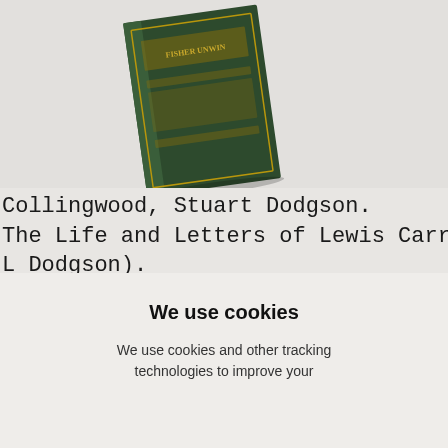[Figure (photo): Photograph of a dark green hardcover book spine showing 'FISHER UNWIN' text, tilted at an angle against a light grey background.]
Collingwood, Stuart Dodgson. The Life and Letters of Lewis Carroll (L Dodgson). Publisher: T Fisher Unwin, London
We use cookies
We use cookies and other tracking technologies to improve your